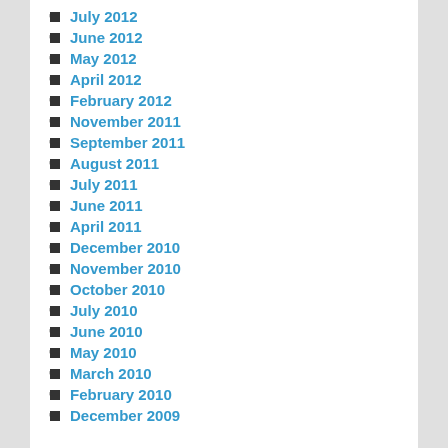July 2012
June 2012
May 2012
April 2012
February 2012
November 2011
September 2011
August 2011
July 2011
June 2011
April 2011
December 2010
November 2010
October 2010
July 2010
June 2010
May 2010
March 2010
February 2010
December 2009